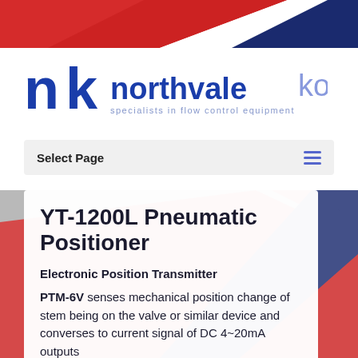[Figure (logo): Northvale Korting logo with red/blue diagonal banner at top and 'specialists in flow control equipment' tagline]
Select Page
YT-1200L Pneumatic Positioner
Electronic Position Transmitter
PTM-6V senses mechanical position change of stem being on the valve or similar device and converses to current signal of DC 4~20mA outputs